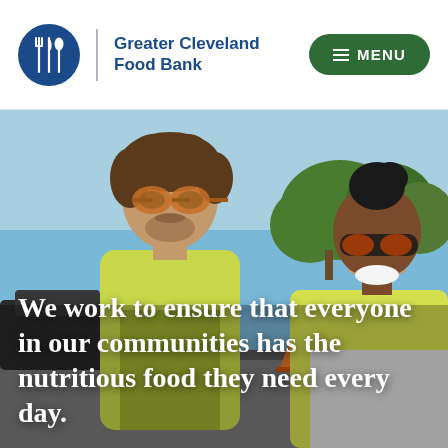[Figure (logo): Greater Cleveland Food Bank logo: blue circle with fork, knife and spoon icons in white, followed by a vertical divider and the text 'Greater Cleveland Food Bank' in blue bold font, and a dark green rounded rectangle button with hamburger menu icon and 'MENU' text]
[Figure (photo): Two volunteers wearing yellow safety vests smiling at camera outdoors at a food distribution event. Man with sunglasses on left, woman with sunglasses on right. Blue sky, green trees, cars in background.]
We work to ensure that everyone in our communities has the nutritious food they need every day.